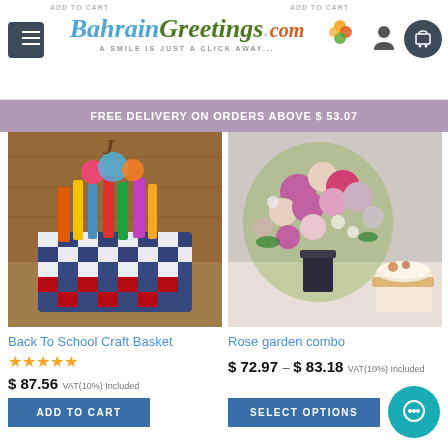BahrainGreetings.com — A SMILE IS JUST A CLICK AWAY...
ADD TO CART
ADD TO CART
FREE DELIVERY ON ORDERS ABOVE $ 53.07
[Figure (photo): Back To School Craft Basket product photo — colorful craft supplies in a woven basket]
Back To School Craft Basket
★★★★★
$ 87.56 VAT(10%) Included
ADD TO CART
[Figure (photo): Rose garden combo product photo — bouquet of roses and a small cake]
Rose garden combo
$ 72.97 – $ 83.18 VAT(10%) Included
SELECT OPTIONS